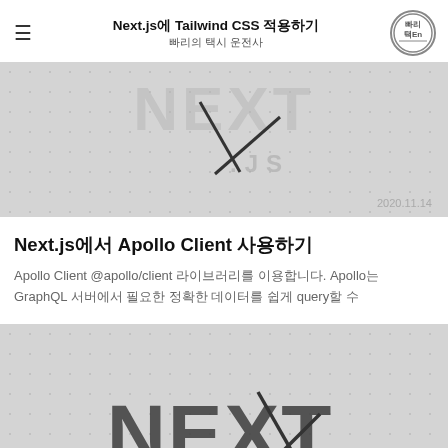Next.js에 Tailwind CSS 적용하기 / 빠리의 택시 운전사
[Figure (screenshot): Gray dotted background image block with Next.js watermark logo text and date stamp 2020.11.14]
Next.js에서 Apollo Client 사용하기
Apollo Client @apollo/client 라이브러리를 이용합니다. Apollo는 GraphQL 서버에서 필요한 정확한 데이터를 쉽게 query할 수
[Figure (screenshot): Gray dotted background image block with partial Next.js logo text (NEXT) visible at bottom]